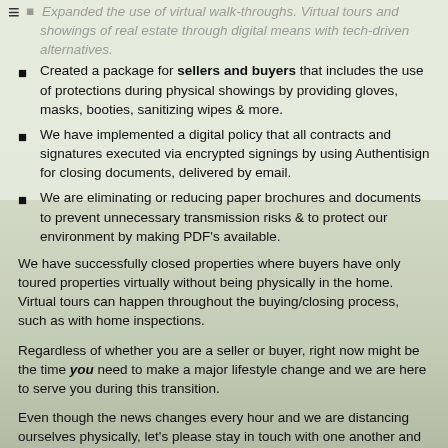≡
Expanded the use of virtual walk-throughs. Virtual tours and showings of real estate through digital means with tech-driven alternatives.
Created a package for sellers and buyers that includes the use of protections during physical showings by providing gloves, masks, booties, sanitizing wipes & more.
We have implemented a digital policy that all contracts and signatures executed via encrypted signings by using Authentisign for closing documents, delivered by email.
We are eliminating or reducing paper brochures and documents to prevent unnecessary transmission risks & to protect our environment by making PDF's available.
We have successfully closed properties where buyers have only toured properties virtually without being physically in the home. Virtual tours can happen throughout the buying/closing process, such as with home inspections.
Regardless of whether you are a seller or buyer, right now might be the time you need to make a major lifestyle change and we are here to serve you during this transition.
Even though the news changes every hour and we are distancing ourselves physically, let's please stay in touch with one another and offer each other the necessary support.
Together, we have weathered incredibly dire circumstances before—9/11, the Great Recession, and now COVID-19. We will get through it by sharing the latest information and following the best protocols for health and safety for all of us.
I am wishing you, your loved ones, and your communities strength and health